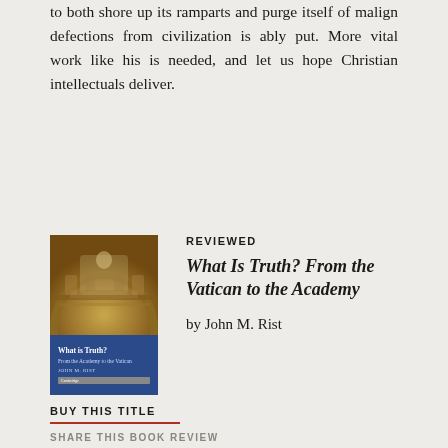to both shore up its ramparts and purge itself of malign defections from civilization is ably put. More vital work like his is needed, and let us hope Christian intellectuals deliver.
[Figure (illustration): Book cover of 'What Is Truth? From the Academy to the Vatican' by John M. Rist. Top portion shows a mosaic or fresco of a religious scene with golden tones. Bottom portion is a blue rectangle with the book title and author name in white text, published by Cambridge.]
REVIEWED
What Is Truth? From the Vatican to the Academy
by John M. Rist
BUY THIS TITLE
SHARE THIS BOOK REVIEW